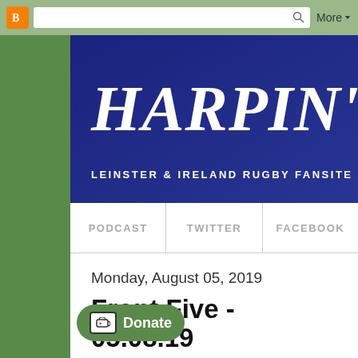Blogger toolbar with search and More button
[Figure (screenshot): Blogger orange icon in toolbar]
HARPIN' ON
LEINSTER & IRELAND RUGBY FANSITE
PODCAST | TWITTER | FACEBOOK
Monday, August 05, 2019
Front Five - 05.08.19
[Figure (infographic): Donate button with Ko-fi cup icon]